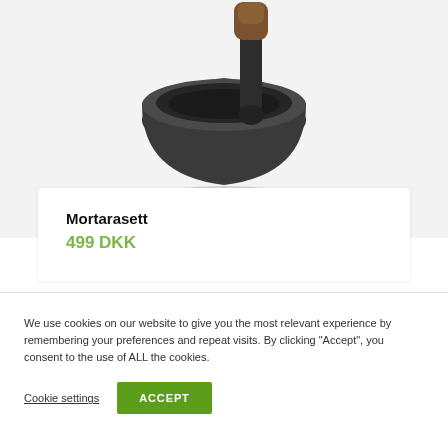[Figure (photo): A dark grey/black mortar and pestle with a wooden handle, photographed on a light grey background. The mortar is a round bowl shape and the pestle has a dark cylindrical body with a wooden top.]
Mortarasett
499 DKK
We use cookies on our website to give you the most relevant experience by remembering your preferences and repeat visits. By clicking “Accept”, you consent to the use of ALL the cookies.
Cookie settings
ACCEPT